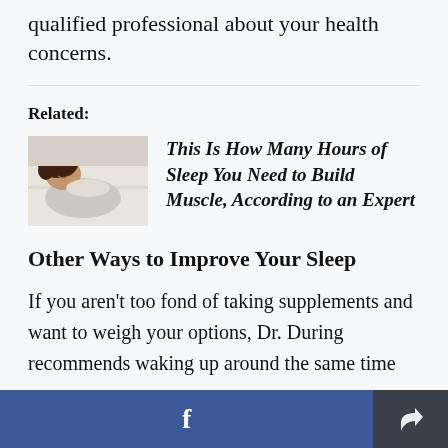qualified professional about your health concerns.
Related:
[Figure (photo): Woman sleeping in bed with white sheets, curly hair, peaceful expression]
This Is How Many Hours of Sleep You Need to Build Muscle, According to an Expert
Other Ways to Improve Your Sleep
If you aren't too fond of taking supplements and want to weigh your options, Dr. During recommends waking up around the same time
f  [share icon]